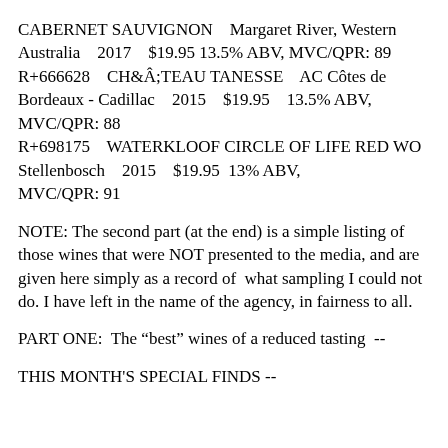CABERNET SAUVIGNON   Margaret River, Western Australia   2017   $19.95 13.5% ABV, MVC/QPR: 89 R+666628   CHÂTEAU TANESSE   AC Côtes de Bordeaux - Cadillac   2015   $19.95   13.5% ABV, MVC/QPR: 88 R+698175   WATERKLOOF CIRCLE OF LIFE RED WO Stellenbosch   2015   $19.95  13% ABV, MVC/QPR: 91
NOTE: The second part (at the end) is a simple listing of  those wines that were NOT presented to the media, and are given here simply as a record of  what sampling I could not do. I have left in the name of the agency, in fairness to all.
PART ONE:  The "best" wines of a reduced tasting  --
THIS MONTH'S SPECIAL FINDS --